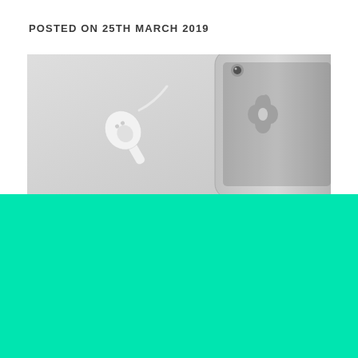POSTED ON 25TH MARCH 2019
[Figure (photo): White AirPods earbuds lying on a light gray surface next to an iPhone showing the Apple logo on its back]
[Figure (other): Solid turquoise/teal green color block filling the lower portion of the page]